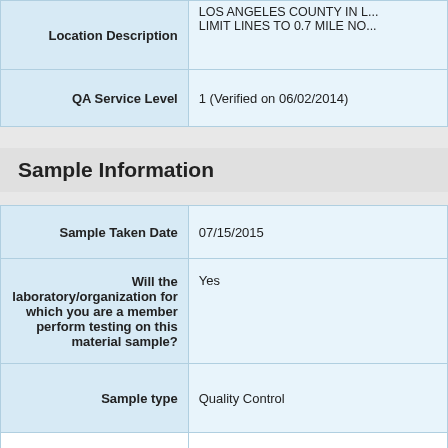| Location Description | LOS ANGELES COUNTY IN L... LIMIT LINES TO 0.7 MILE NO... |
| --- | --- |
| Location Description | LOS ANGELES COUNTY IN L... LIMIT LINES TO 0.7 MILE NO... |
| QA Service Level | 1 (Verified on 06/02/2014) |
Sample Information
| Sample Taken Date | 07/15/2015 |
| Will the laboratory/organization for which you are a member perform testing on this material sample? | Yes |
| Sample type | Quality Control |
| The quantity of what the sample constitutes | 3 bags |
| First name of sampler or witnessed by | David |
| Title of sampler | QC Field Technician |